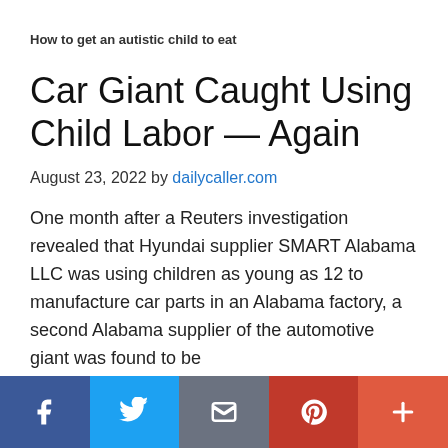How to get an autistic child to eat
Car Giant Caught Using Child Labor — Again
August 23, 2022 by dailycaller.com
One month after a Reuters investigation revealed that Hyundai supplier SMART Alabama LLC was using children as young as 12 to manufacture car parts in an Alabama factory, a second Alabama supplier of the automotive giant was found to be
[Figure (infographic): Social sharing bar with Facebook, Twitter, Email, Pinterest, and More buttons]